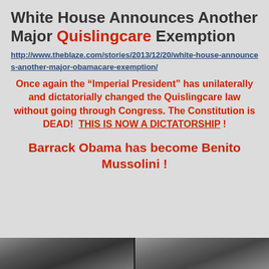White House Announces Another Major Quislingcare Exemption
http://www.theblaze.com/stories/2013/12/20/white-house-announces-another-major-obamacare-exemption/
Once again the “Imperial President” has unilaterally and dictatorially changed the Quislingcare law without going through Congress. The Constitution is DEAD!  THIS IS NOW A DICTATORSHIP !
Barrack Obama has become Benito Mussolini !
[Figure (photo): Two photos side by side at the bottom of the page, partially visible]